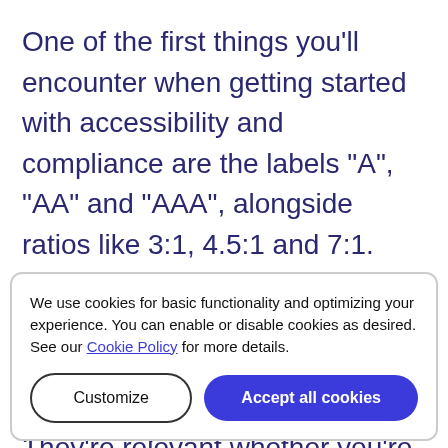One of the first things you'll encounter when getting started with accessibility and compliance are the labels "A", "AA" and "AAA", alongside ratios like 3:1, 4.5:1 and 7:1. These are the different levels you need to adhere to in order to be compliant with the latest WCAG accessibility standards. They're relevant whether you're checking the contrast of a colored shape against a
We use cookies for basic functionality and optimizing your experience. You can enable or disable cookies as desired. See our Cookie Policy for more details.
we've put together some practical tips and